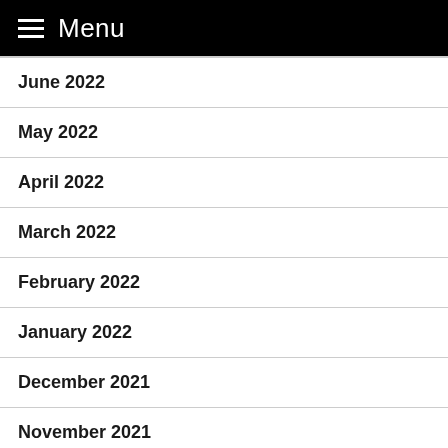Menu
June 2022
May 2022
April 2022
March 2022
February 2022
January 2022
December 2021
November 2021
March 2021
January 2021